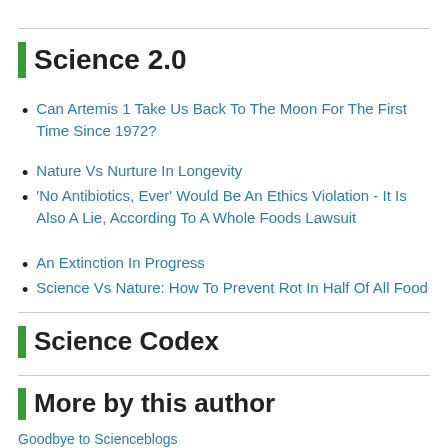Science 2.0
Can Artemis 1 Take Us Back To The Moon For The First Time Since 1972?
Nature Vs Nurture In Longevity
'No Antibiotics, Ever' Would Be An Ethics Violation - It Is Also A Lie, According To A Whole Foods Lawsuit
An Extinction In Progress
Science Vs Nature: How To Prevent Rot In Half Of All Food
Science Codex
More by this author
Goodbye to Scienceblogs